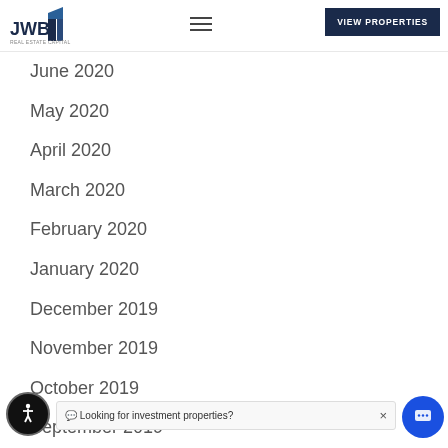[Figure (logo): JWB Real Estate Capital logo with blue building icon]
June 2020
May 2020
April 2020
March 2020
February 2020
January 2020
December 2019
November 2019
October 2019
September 2019
August 2019
July 2019